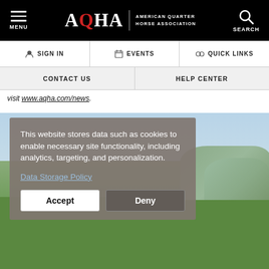[Figure (logo): AQHA American Quarter Horse Association navigation header with black background, hamburger menu on left, AQHA logo in center, search icon on right]
SIGN IN | EVENTS | QUICK LINKS
CONTACT US | HELP CENTER
visit www.aqha.com/news .
[Figure (photo): Countryside landscape with green fields, hay bales, and mountains under cloudy sky]
This website stores data such as cookies to enable necessary site functionality, including analytics, targeting, and personalization.

Data Storage Policy
Accept | Deny